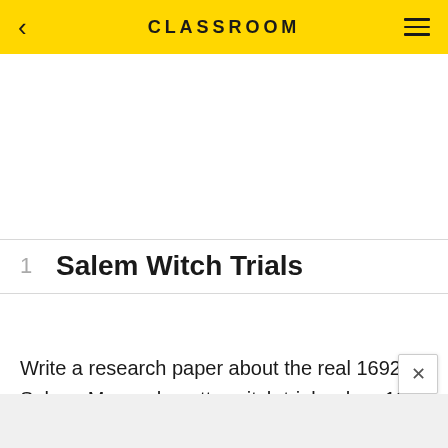CLASSROOM
1   Salem Witch Trials
Write a research paper about the real 1692 Salem, Massachusetts, witch trials when 19 men and women and two dogs were hanged for supposed involvement in witchcraft. Discuss the negative elements associated